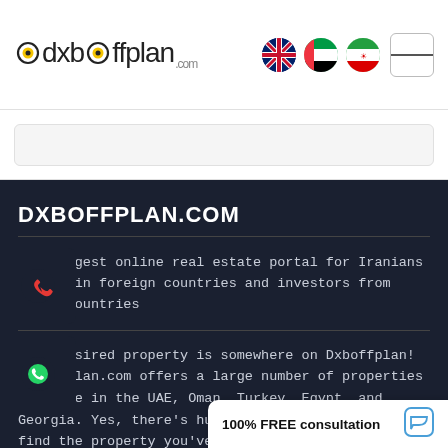dxboffplan.com
DXBOFFPLAN.COM
the biggest online real estate portal for Iranians living in foreign countries and investors from other countries
Your desired property is somewhere on Dxboffplan! Dxboffplan.com offers a large number of properties for sale in the UAE, Oman, Turkey, Egypt, and Georgia. Yes, there's huge possibility for you to find the property you've always imagined. Just visit the website and start searching!
100% FREE consultation